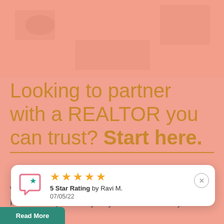[Figure (photo): Faded salmon/coral-tinted background photo of an interior scene (desk, lamps, shelves), overlaid with a semi-transparent salmon color wash.]
Looking to partner with a REALTOR you can trust? Start here.
We know how to get you the home you want. Find out why so many Buyers choose to buy
[Figure (infographic): A white rounded review card showing a pink/coral chat bubble icon with a teal star, five gold stars, '5 Star Rating by Ravi M.' and date '07/05/22', with a close (×) button.]
Read More